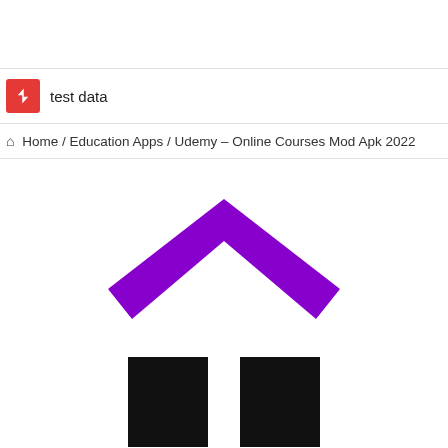test data
🏠 Home / Education Apps / Udemy – Online Courses Mod Apk 2022
[Figure (logo): Udemy app logo: a purple chevron (roof/hat shape) above two black rectangular columns, resembling a house or graduation cap symbol on white background]